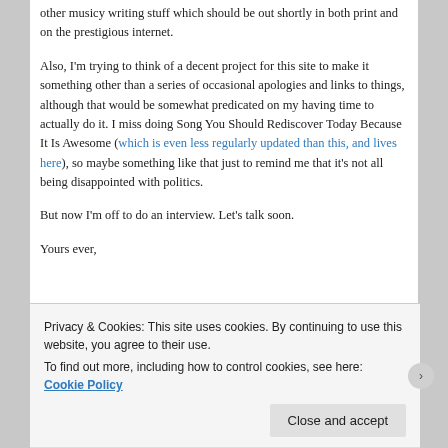other musicy writing stuff which should be out shortly in both print and on the prestigious internet.
Also, I'm trying to think of a decent project for this site to make it something other than a series of occasional apologies and links to things, although that would be somewhat predicated on my having time to actually do it. I miss doing Song You Should Rediscover Today Because It Is Awesome (which is even less regularly updated than this, and lives here), so maybe something like that just to remind me that it's not all being disappointed with politics.
But now I'm off to do an interview. Let's talk soon.
Yours ever,
Privacy & Cookies: This site uses cookies. By continuing to use this website, you agree to their use.
To find out more, including how to control cookies, see here: Cookie Policy